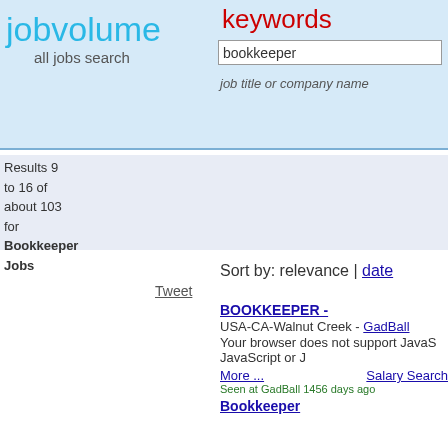jobvolume all jobs search
keywords
bookkeeper
job title or company name
Results 9 to 16 of about 103 for Bookkeeper Jobs
Tweet
Sort by: relevance | date
BOOKKEEPER -
USA-CA-Walnut Creek - GadBall
Your browser does not support JavaScript or J
More ... Salary Search Seen at GadBall 1456 days ago
Bookkeeper
USA-CA-Shafter - GadBall
Your browser does not support JavaScript or J
More ... Salary Search Seen at GadBall 1455 days ago
Bookkeeper
Subscribe for Career Alert
Enter Your Email Here
Subscribe
what
bookkeeper
job title
where